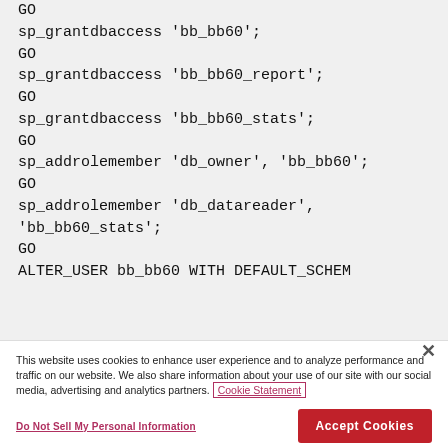GO
sp_grantdbaccess 'bb_bb60';
GO
sp_grantdbaccess 'bb_bb60_report';
GO
sp_grantdbaccess 'bb_bb60_stats';
GO
sp_addrolemember 'db_owner', 'bb_bb60';
GO
sp_addrolemember 'db_datareader',
'bb_bb60_stats';
GO
ALTER_USER bb_bb60 WITH DEFAULT_SCHEM…
This website uses cookies to enhance user experience and to analyze performance and traffic on our website. We also share information about your use of our site with our social media, advertising and analytics partners. Cookie Statement
Do Not Sell My Personal Information
Accept Cookies